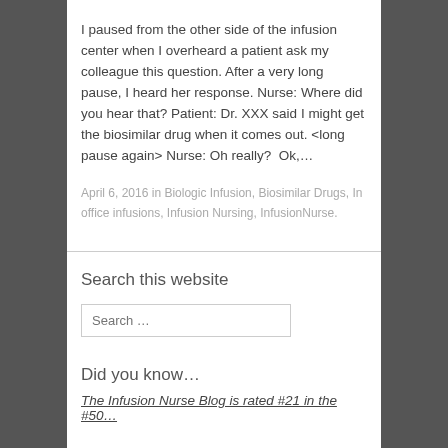I paused from the other side of the infusion center when I overheard a patient ask my colleague this question. After a very long pause, I heard her response. Nurse: Where did you hear that? Patient: Dr. XXX said I might get the biosimilar drug when it comes out. <long pause again> Nurse: Oh really?  Ok,…
April 6, 2016 in Biologic Infusion, Biosimilar Drugs, In office infusions, Infusion Nursing, InfusionNurse.
Search this website
Search …
Did you know…
The Infusion Nurse Blog is rated #21 in the #50…